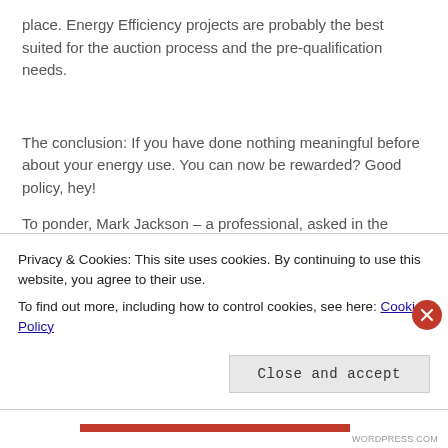place. Energy Efficiency projects are probably the best suited for the auction process and the pre-qualification needs.
The conclusion: If you have done nothing meaningful before about your energy use. You can now be rewarded? Good policy, hey!
To ponder, Mark Jackson – a professional, asked in the
Privacy & Cookies: This site uses cookies. By continuing to use this website, you agree to their use.
To find out more, including how to control cookies, see here: Cookie Policy
Close and accept